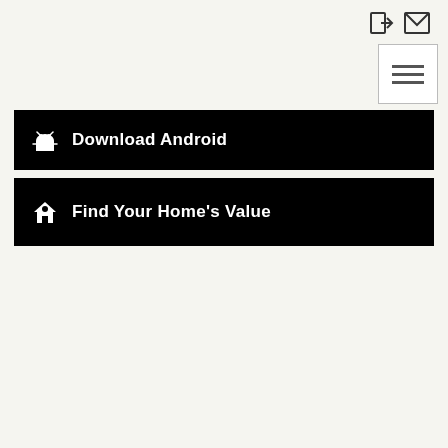header icons: login, mail, hamburger menu
Download Android
Find Your Home's Value